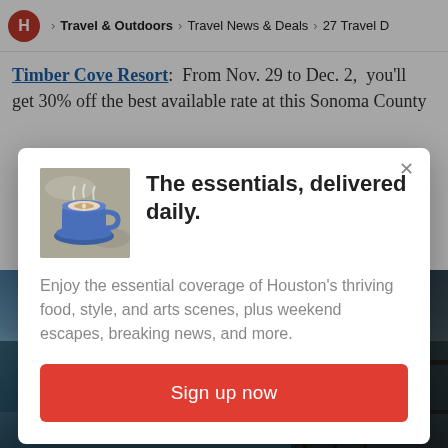H > Travel & Outdoors > Travel News & Deals > 27 Travel D
Timber Cove Resort: From Nov. 29 to Dec. 2, you'll get 30% off the best available rate at this Sonoma County
[Figure (screenshot): Modal popup overlay on a travel news article. Contains a coffee cup image, bold headline 'The essentials, delivered daily.', descriptive text, and a red Sign up now button.]
[Figure (photo): Background beach/coastal scene with water and sky, partially obscured by modal overlay and structural shadow on right side.]